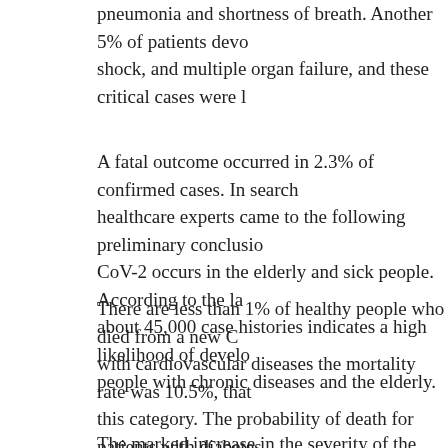pneumonia and shortness of breath. Another 5% of patients devo shock, and multiple organ failure, and these critical cases were l
A fatal outcome occurred in 2.3% of confirmed cases. In search healthcare experts came to the following preliminary conclusion CoV-2 occurs in the elderly and sick people. According to the la about 45,000 case histories indicates a high likelihood of develo people with chronic diseases and the elderly.
There are less than 1% of healthy people who died from a new C with cardiovascular diseases the mortality rate was 10.5%, that this category. The probability of death for patients with diabetes deaths is an indicator for patients with chronic respiratory diseas highest risk of dying – 14.8% – is exposed to patients 80 years a all age groups, except for children under nine years of age, and, relatively few such outcomes among children," quoted The Scie general of the World Health Organization.
The marked increase in the severity of the disease in older grou